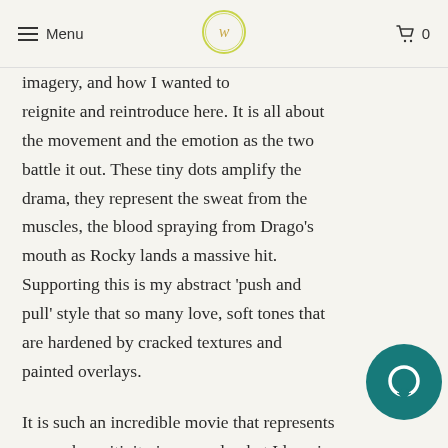Menu | [logo] | 0
imagery, and how I wanted to reintroduce here. It is all about the movement and the emotion as the two battle it out. These tiny dots amplify the drama, they represent the sweat from the muscles, the blood spraying from Drago's mouth as Rocky lands a massive hit. Supporting this is my abstract 'push and pull' style that so many love, soft tones that are hardened by cracked textures and painted overlays.
It is such an incredible movie that represents so much positivity in general, what I love is that although the fight scene is so iconic, you don't seen to see it depicted in art form. It is the perfect scene to showcase my way